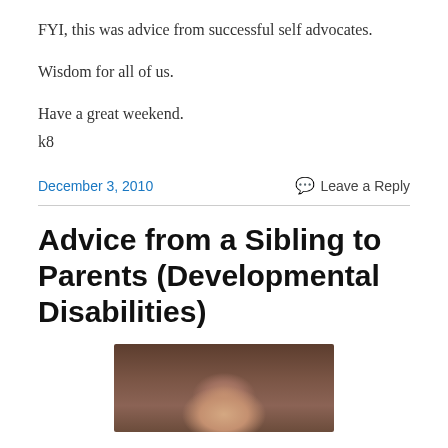FYI, this was advice from successful self advocates.
Wisdom for all of us.
Have a great weekend.
k8
December 3, 2010    Leave a Reply
Advice from a Sibling to Parents (Developmental Disabilities)
[Figure (photo): Partial photo of a person, showing the top of their head and face, against a dark brown background.]